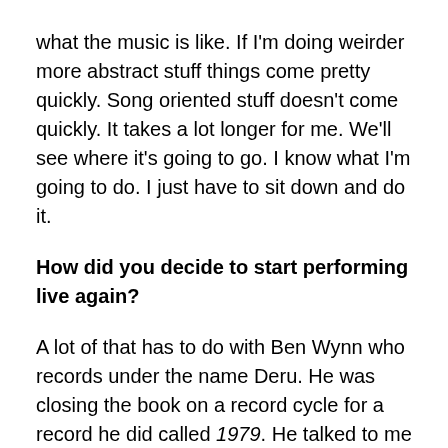what the music is like. If I'm doing weirder more abstract stuff things come pretty quickly. Song oriented stuff doesn't come quickly. It takes a lot longer for me. We'll see where it's going to go. I know what I'm going to do. I just have to sit down and do it.
How did you decide to start performing live again?
A lot of that has to do with Ben Wynn who records under the name Deru. He was closing the book on a record cycle for a record he did called 1979. He talked to me last December. 'Look, I've got the venue and I think we're going to be able to do the visual stuff! I just need an opener.' Pregnant pause.